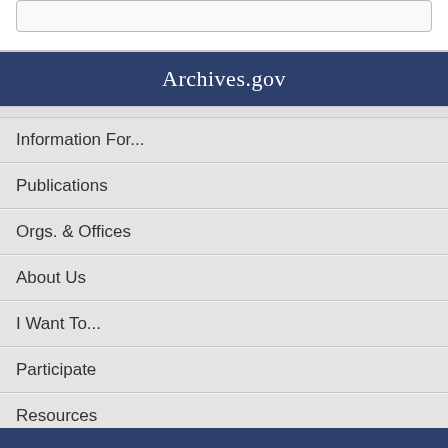Archives.gov
Information For...
Publications
Orgs. & Offices
About Us
I Want To...
Participate
Resources
Shop Online